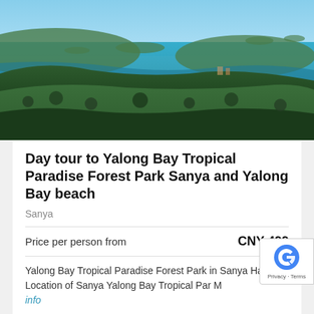[Figure (photo): Aerial view of Yalong Bay area in Sanya, Hainan — dense green tropical forest in the foreground with turquoise ocean and islands visible in the background under a blue sky.]
Day tour to Yalong Bay Tropical Paradise Forest Park Sanya and Yalong Bay beach
Sanya
Price per person from
CNY 499
Yalong Bay Tropical Paradise Forest Park in Sanya Hainan Location of Sanya Yalong Bay Tropical Par More info